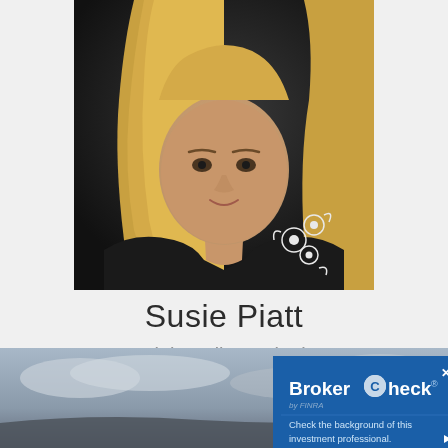[Figure (photo): Professional headshot of Susie Piatt, a woman with long blonde hair wearing a dark jacket with white floral embroidery detail, photographed against a dark background.]
Susie Piatt
Social Media Marketing Coordinator
[Figure (photo): Partial background photo showing a cloudy sky landscape at the bottom of the page.]
[Figure (screenshot): BrokerCheck by FINRA badge/widget. Text reads: 'BrokerCheck by FINRA. Check the background of this investment professional.']